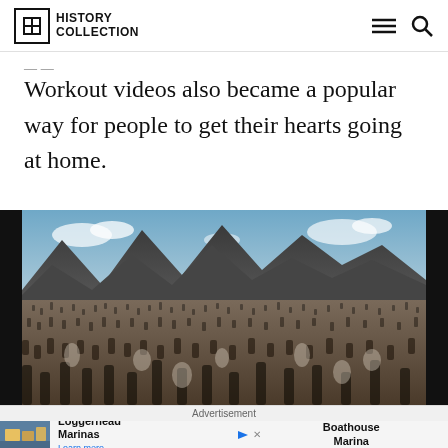History Collection
Workout videos also became a popular way for people to get their hearts going at home.
[Figure (photo): Large crowd of people gathered outdoors with mountains in the background, black and white/color photograph]
Advertisement
Loggerhead Marinas  Learn more   Boathouse Marina